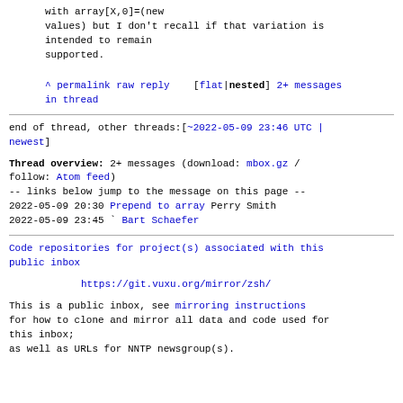with array[X,0]=(new
values) but I don't recall if that variation is
intended to remain
supported.
^ permalink raw reply   [flat|nested] 2+ messages
in thread
end of thread, other threads:[~2022-05-09 23:46 UTC |
newest]
Thread overview: 2+ messages (download: mbox.gz /
follow: Atom feed)
-- links below jump to the message on this page --
2022-05-09 20:30 Prepend to array Perry Smith
2022-05-09 23:45 ` Bart Schaefer
Code repositories for project(s) associated with this
public inbox
https://git.vuxu.org/mirror/zsh/
This is a public inbox, see mirroring instructions
for how to clone and mirror all data and code used for
this inbox;
as well as URLs for NNTP newsgroup(s).